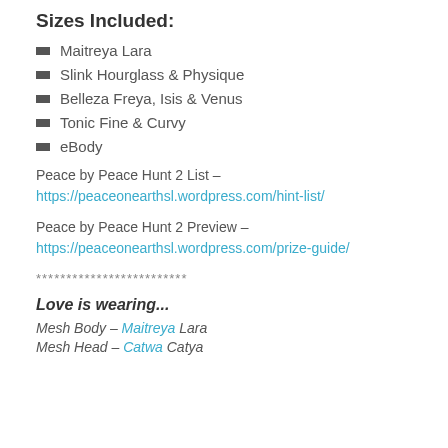Sizes Included:
Maitreya Lara
Slink Hourglass & Physique
Belleza Freya, Isis & Venus
Tonic Fine & Curvy
eBody
Peace by Peace Hunt 2 List – https://peaceonearthsl.wordpress.com/hint-list/
Peace by Peace Hunt 2 Preview – https://peaceonearthsl.wordpress.com/prize-guide/
*************************
Love is wearing...
Mesh Body – Maitreya Lara
Mesh Head – Catwa Catya